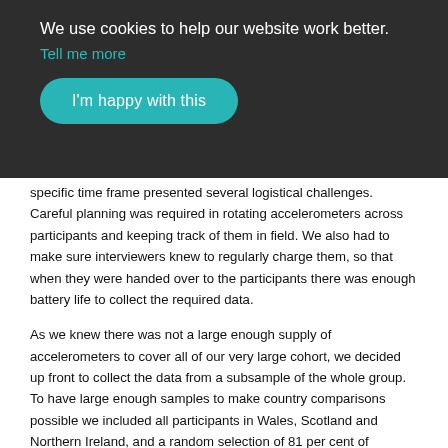We use cookies to help our website work better. Tell me more
I'm happy with this
specific time frame presented several logistical challenges. Careful planning was required in rotating accelerometers across participants and keeping track of them in field. We also had to make sure interviewers knew to regularly charge them, so that when they were handed over to the participants there was enough battery life to collect the required data.
As we knew there was not a large enough supply of accelerometers to cover all of our very large cohort, we decided up front to collect the data from a subsample of the whole group. To have large enough samples to make country comparisons possible we included all participants in Wales, Scotland and Northern Ireland, and a random selection of 81 per cent of participants in England.